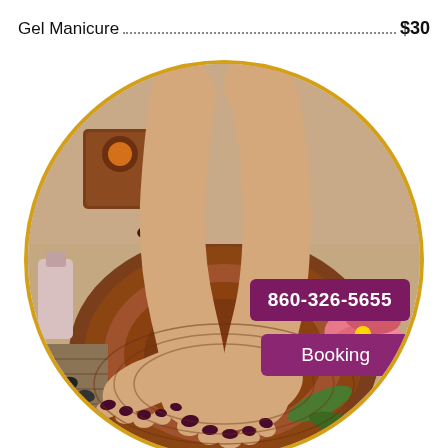Gel Manicure ..................................................................................................................................................................................... $30
[Figure (photo): Circular framed spa pedicure photo showing two feet with dark plum/burgundy nail polish resting in a wooden bowl, with candles, coffee beans, orchid flowers, and spa accessories in the background. A gold/amber circular border frames the image.]
860-326-5655
Booking